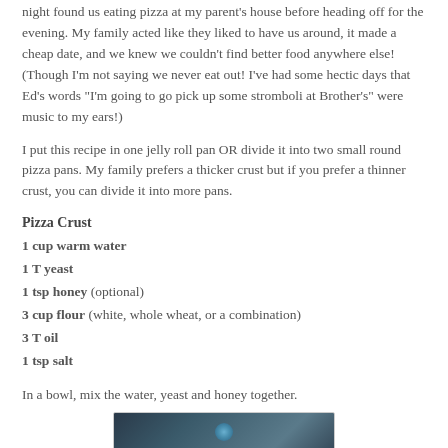night found us eating pizza at my parent's house before heading off for the evening. My family acted like they liked to have us around, it made a cheap date, and we knew we couldn't find better food anywhere else! (Though I'm not saying we never eat out! I've had some hectic days that Ed's words "I'm going to go pick up some stromboli at Brother's" were music to my ears!)
I put this recipe in one jelly roll pan OR divide it into two small round pizza pans. My family prefers a thicker crust but if you prefer a thinner crust, you can divide it into more pans.
Pizza Crust
1 cup warm water
1 T yeast
1 tsp honey (optional)
3 cup flour (white, whole wheat, or a combination)
3 T oil
1 tsp salt
In a bowl, mix the water, yeast and honey together.
[Figure (photo): A bowl with water, yeast and honey mixture for pizza crust]